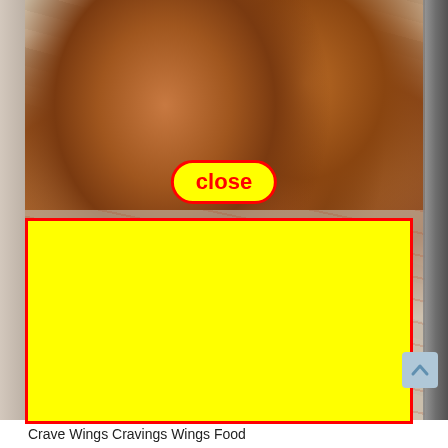[Figure (photo): A basket of fried chicken wings lined with branded paper (Crave Wings), viewed from above. A yellow rounded-rectangle 'close' button with red text and red border overlays the center of the photo. A large yellow rectangle with red border covers the lower portion of the image.]
Crave Wings Cravings Wings Food